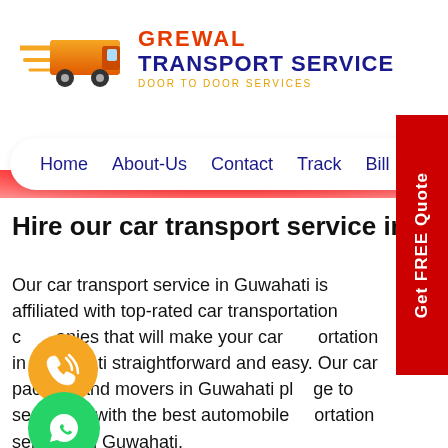[Figure (logo): Grewal Transport Service logo with orange truck icon and brand text: GREWAL TRANSPORT SERVICE, DOOR TO DOOR SERVICES]
Home  About-Us  Contact  Track  Bill
Hire our car transport service in Guwahati
Our car transport service in Guwahati is affiliated with top-rated car transportation companies that will make your car transportation in Guwahati straightforward and easy. Our car packers and movers in Guwahati pledge to serve you with the best automobile transportation services in Guwahati.
Grewal transport service recognise that you will be moving from one location to another,